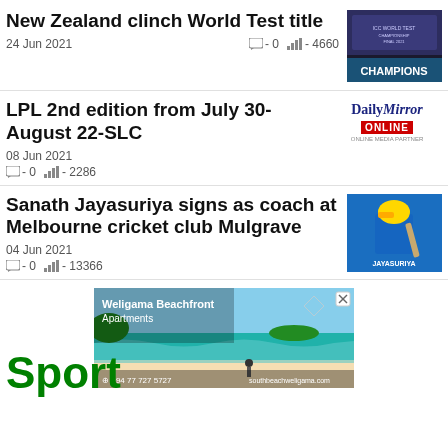New Zealand clinch World Test title
24 Jun 2021
- 0   - 4660
[Figure (photo): ICC World Test Championship Final 2021 — CHAMPIONS banner with team photo]
LPL 2nd edition from July 30-August 22-SLC
[Figure (logo): Daily Mirror Online logo]
08 Jun 2021
- 0   - 2286
Sanath Jayasuriya signs as coach at Melbourne cricket club Mulgrave
[Figure (photo): Sanath Jayasuriya batting in blue jersey]
04 Jun 2021
- 0   - 13366
[Figure (photo): Advertisement: Weligama Beachfront Apartments — beach scene with turquoise water, +94 77 727 5727, southbeachweligama.com]
Sport